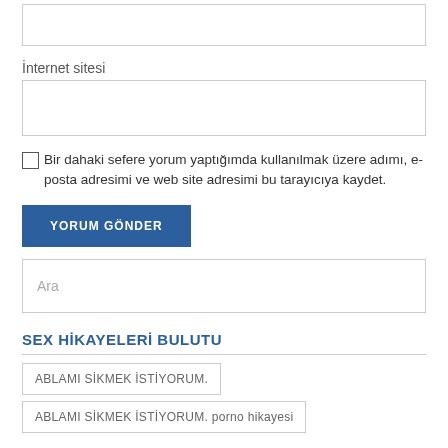İnternet sitesi
Bir dahaki sefere yorum yaptığımda kullanılmak üzere adımı, e-posta adresimi ve web site adresimi bu tarayıcıya kaydet.
YORUM GÖNDER
Ara
SEX HİKAYELERİ BULUTU
ABLAMI SİKMEK İSTİYORUM.
ABLAMI SİKMEK İSTİYORUM. porno hikayesi